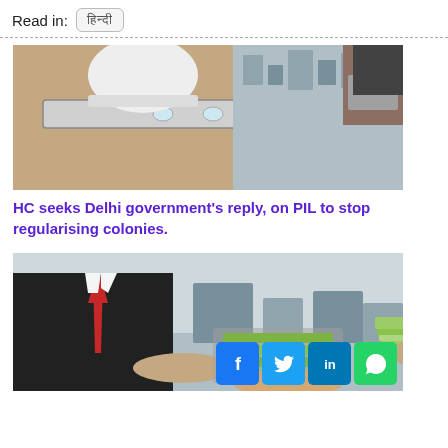Read in: हिन्दी
[Figure (photo): Person holding a spirit level / measuring tool over a construction surface, with city aerial view in background]
HC seeks Delhi government's reply, on PIL to stop regularising colonies.
[Figure (photo): Man in black suit and red tie holding a stack of cash money in an outstretched hand, city skyline in background]